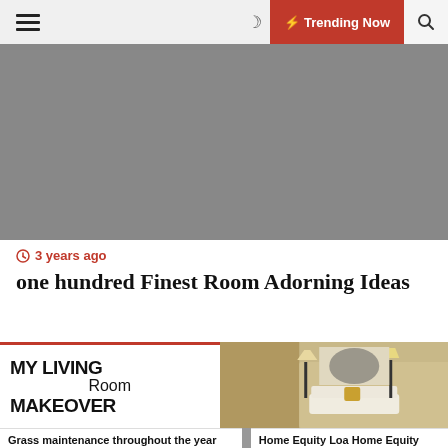☰  ☽  ⚡ Trending Now  🔍
[Figure (photo): Gray hero image placeholder for article header]
🕐 3 years ago
one hundred Finest Room Adorning Ideas
[Figure (photo): My Living Room Makeover banner with interior room photo showing floor lamps and a white sofa with gold pillows]
Grass maintenance throughout the year
Home Equity Loa Home Equity Line